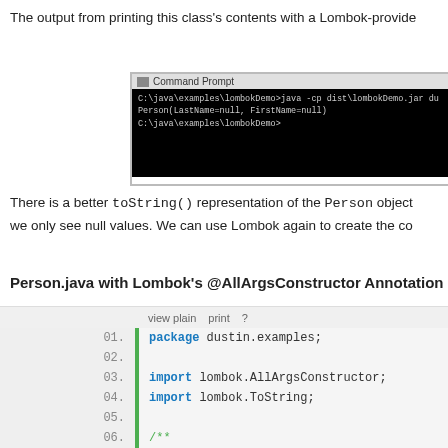The output from printing this class's contents with a Lombok-provide
[Figure (screenshot): Command Prompt window showing Java output: C:\java\examples\lombokDemo>java -cp dist\lombokDemo.jar du... Person(LastName=null, FirstName=null) C:\java\examples\lombokDemo>]
There is a better toString() representation of the Person object we only see null values. We can use Lombok again to create the co
Person.java with Lombok's @AllArgsConstructor Annotation
[Figure (screenshot): Code editor showing Java source file with line numbers 01-16. Code includes: package dustin.examples; import lombok.AllArgsConstructor; import lombok.ToString; Javadoc comment 'Simple Person class without boilerplate. @author Dustin'; @ToString @AllArgsConstructor public class Person { private String lastName; (line 16 cut off)]